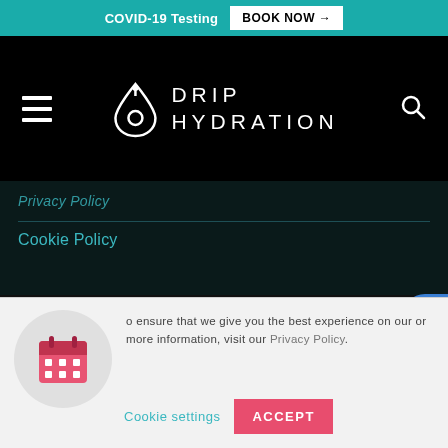COVID-19 Testing  BOOK NOW →
[Figure (logo): Drip Hydration logo with drop icon and hamburger menu on left, search icon on right, on black background]
Privacy Policy
Cookie Policy
The services provided have not been evaluated by the Food and Drug Administration. These products are not intended to diagnose, treat, cure or prevent any disease. The material on this we...vided for informational purposes
o ensure that we give you the best experience on our or more information, visit our Privacy Policy.
Cookie settings
ACCEPT